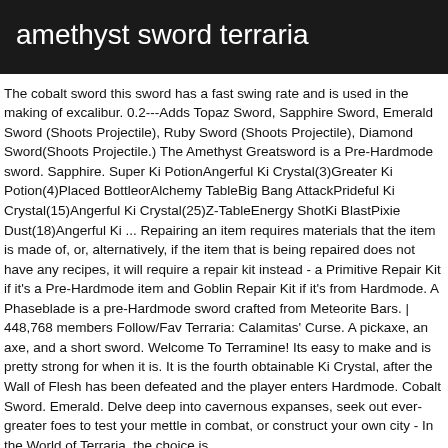amethyst sword terraria
The cobalt sword this sword has a fast swing rate and is used in the making of excalibur. 0.2---Adds Topaz Sword, Sapphire Sword, Emerald Sword (Shoots Projectile), Ruby Sword (Shoots Projectile), Diamond Sword(Shoots Projectile.) The Amethyst Greatsword is a Pre-Hardmode sword. Sapphire. Super Ki PotionAngerful Ki Crystal(3)Greater Ki Potion(4)Placed BottleorAlchemy TableBig Bang AttackPrideful Ki Crystal(15)Angerful Ki Crystal(25)Z-TableEnergy ShotKi BlastPixie Dust(18)Angerful Ki ... Repairing an item requires materials that the item is made of, or, alternatively, if the item that is being repaired does not have any recipes, it will require a repair kit instead - a Primitive Repair Kit if it's a Pre-Hardmode item and Goblin Repair Kit if it's from Hardmode. A Phaseblade is a pre-Hardmode sword crafted from Meteorite Bars. | 448,768 members Follow/Fav Terraria: Calamitas' Curse. A pickaxe, an axe, and a short sword. Welcome To Terramine! Its easy to make and is pretty strong for when it is. It is the fourth obtainable Ki Crystal, after the Wall of Flesh has been defeated and the player enters Hardmode. Cobalt Sword. Emerald. Delve deep into cavernous expanses, seek out ever-greater foes to test your mettle in combat, or construct your own city - In the World of Terraria, the choice is